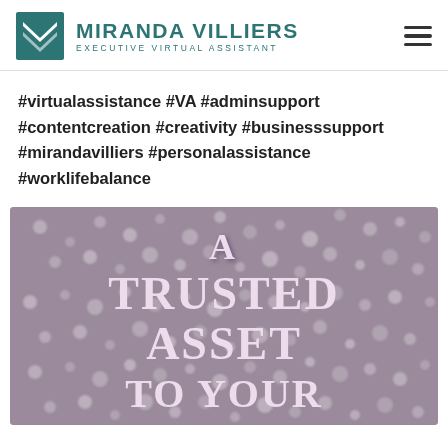Miranda Villiers Executive Virtual Assistant
#virtualassistance #VA #adminsupport #contentcreation #creativity #businesssupport #mirandavilliers #personalassistance #worklifebalance
[Figure (illustration): Promotional image with floral/daisy background and bold overlaid text reading 'A TRUSTED ASSET TO YOUR...' in large cream/white serif letters on a muted purple-grey floral background.]